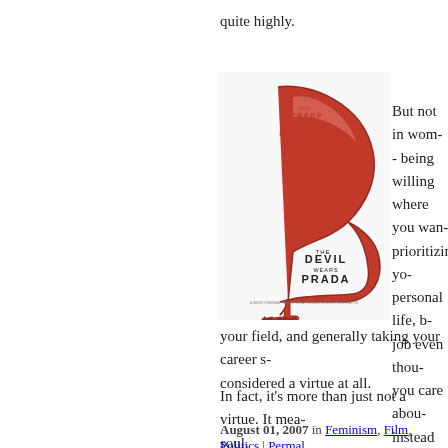quite highly.
[Figure (illustration): Movie poster for 'The Devil Wears Prada' featuring a red stiletto high heel shoe with a devil's pitchfork at the base, with actor credits for Meryl Streep and Anne Hathaway.]
But not in wom- - being willing where you wan- prioritizing yo- personal life, b- job even thou- you care abou- instead of a sl- respect for suc-
your field, and generally taking your career s- considered a virtue at all.
In fact, it's more than just not a virtue. It mea- soul.
August 01, 2007 in Feminism, Film, Politics | Permal-